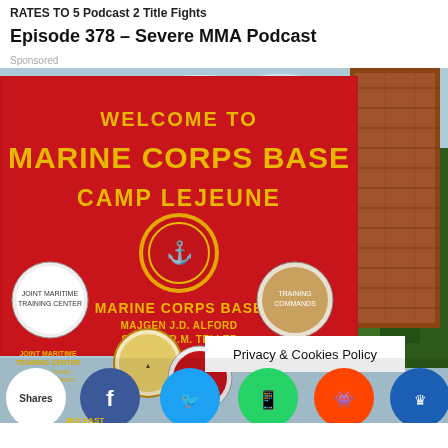RATES TO 5 Podcast 2 Title Fights
Episode 378 – Severe MMA Podcast
Sponsored
[Figure (photo): Photo of the Welcome to Marine Corps Base Camp Lejeune sign, a large red sign with yellow lettering and multiple military unit emblems. Text on sign reads: WELCOME TO MARINE CORPS BASE CAMP LEJEUNE, MARINE CORPS BASE, MAJGEN J.D. ALFORD, SGTMAJ R.M. TELLEZ. Brick tower visible to the right, trees in background. Lower portion shows social sharing icons (Facebook, Twitter, WhatsApp, Reddit, and a crown icon) and a Privacy & Cookies Policy overlay banner.]
Privacy & Cookies Policy
Shares